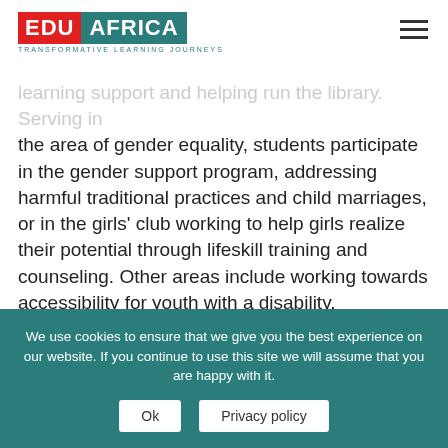[Figure (logo): Edu Africa logo with red EDU block and teal AFRICA block, tagline TRANSFORMATIVE LEARNING JOURNEYS below]
learning support and helping run the library. Serving in the area of gender equality, students participate in the gender support program, addressing harmful traditional practices and child marriages, or in the girls' club working to help girls realize their potential through lifeskill training and counseling. Other areas include working towards accessibility for youth with a disability, collaborating with the Mfuwe Junior football league or playing a role in the tree planting and reforestation initiative at Friends of Brackenhurst.
We use cookies to ensure that we give you the best experience on our website. If you continue to use this site we will assume that you are happy with it.